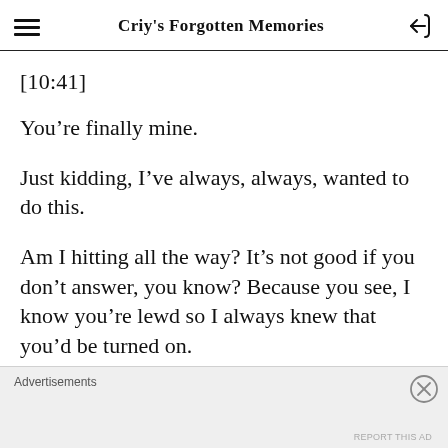Criy's Forgotten Memories
[10:41]
You’re finally mine.
Just kidding, I’ve always, always, wanted to do this.
Am I hitting all the way? It’s not good if you don’t answer, you know? Because you see, I know you’re lewd so I always knew that you’d be turned on.
Advertisements